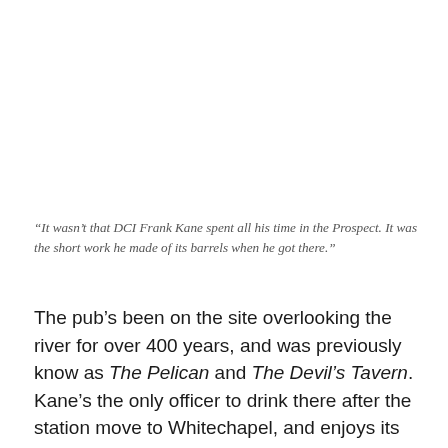“It wasn’t that DCI Frank Kane spent all his time in the Prospect. It was the short work he made of its barrels when he got there.”
The pub’s been on the site overlooking the river for over 400 years, and was previously know as The Pelican and The Devil’s Tavern. Kane’s the only officer to drink there after the station move to Whitechapel, and enjoys its shady history as ‘a meeting place for sailors, smugglers, cut-throats and footpads’. The interior’s mostly 19th century,